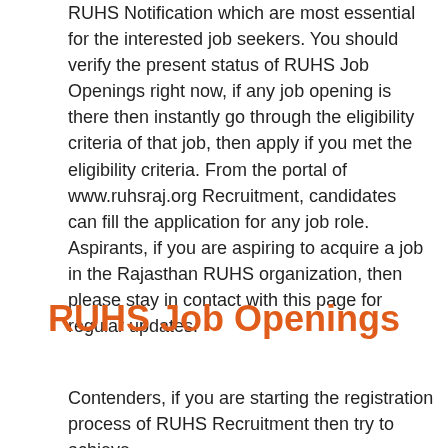RUHS Notification which are most essential for the interested job seekers. You should verify the present status of RUHS Job Openings right now, if any job opening is there then instantly go through the eligibility criteria of that job, then apply if you met the eligibility criteria. From the portal of www.ruhsraj.org Recruitment, candidates can fill the application for any job role. Aspirants, if you are aspiring to acquire a job in the Rajasthan RUHS organization, then please stay in contact with this page for regular updates.
RUHS Job Openings
Contenders, if you are starting the registration process of RUHS Recruitment then try to achieve